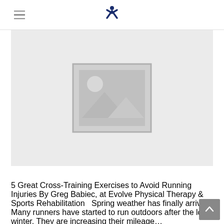[hamburger menu icon] [Clinicient logo]
[Figure (photo): Placeholder image with mountain/landscape icon on light grey background]
5 Great Cross-Training Exercises to Avoid Running Injuries By Greg Babiec, at Evolve Physical Therapy & Sports Rehabilitation   Spring weather has finally arrived! Many runners have started to run outdoors after the long winter. They are increasing their mileage…